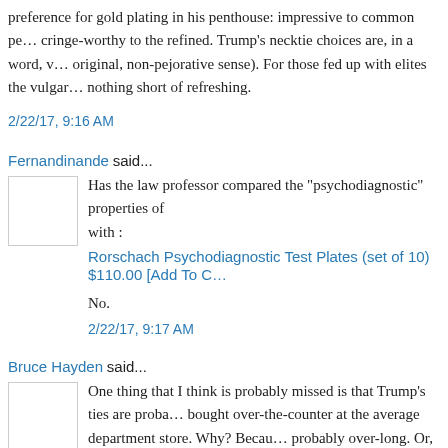preference for gold plating in his penthouse: impressive to common people, cringe-worthy to the refined. Trump's necktie choices are, in a word, vulgar (in the original, non-pejorative sense). For those fed up with elites the vulgarity is nothing short of refreshing.
2/22/17, 9:16 AM
Fernandinande said...
Has the law professor compared the "psychodiagnostic" properties of with :
Rorschach Psychodiagnostic Test Plates (set of 10) $110.00 [Add To C
No.
2/22/17, 9:17 AM
Bruce Hayden said...
One thing that I think is probably missed is that Trump's ties are probably not bought over-the-counter at the average department store. Why? Because they are probably over-long. Or, I should say, regular ties are probably too short for him. They are for me, with a full Windsor and a long trunk. When I was lea